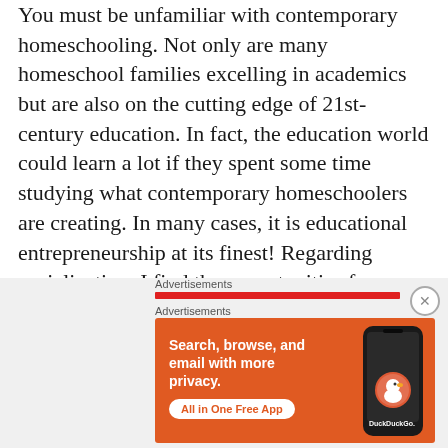You must be unfamiliar with contemporary homeschooling. Not only are many homeschool families excelling in academics but are also on the cutting edge of 21st-century education. In fact, the education world could learn a lot if they spent some time studying what contemporary homeschoolers are creating. In many cases, it is educational entrepreneurship at its finest! Regarding socialization, I find the opportunities for homeschoolers as vastly superior to those in conventional classrooms.
[Figure (other): DuckDuckGo advertisement banner with orange background showing 'Search, browse, and email with more privacy. All in One Free App' text with a phone image and DuckDuckGo logo]